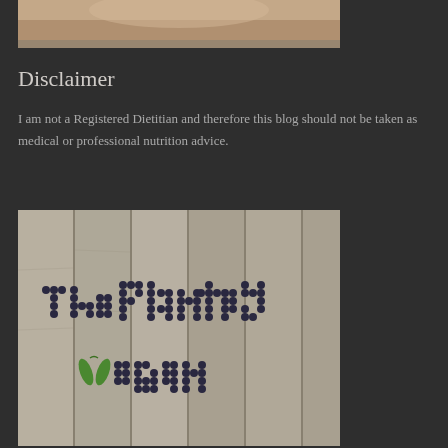[Figure (photo): Partial photo at top of page showing a person, cropped view]
Disclaimer
I am not a Registered Dietitian and therefore this blog should not be taken as medical or professional nutrition advice.
[Figure (photo): Photo of text 'The Planted Vegan' spelled out in blueberries on a wooden surface, with a green chili pepper as the V in Vegan]